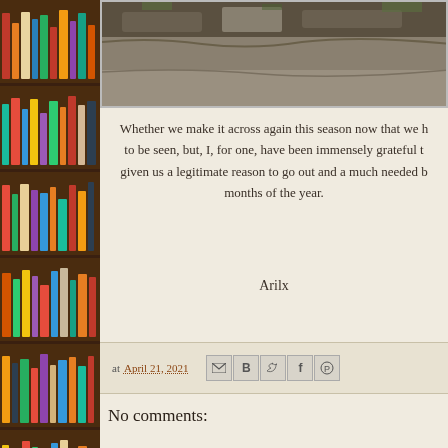[Figure (photo): Partial view of rocky/stone surface photograph at the top of the page, cropped.]
Whether we make it across again this season now that we have, to be seen, but, I, for one, have been immensely grateful to given us a legitimate reason to go out and a much needed bo months of the year.
Arilx
at April 21, 2021
No comments:
Post a Comment